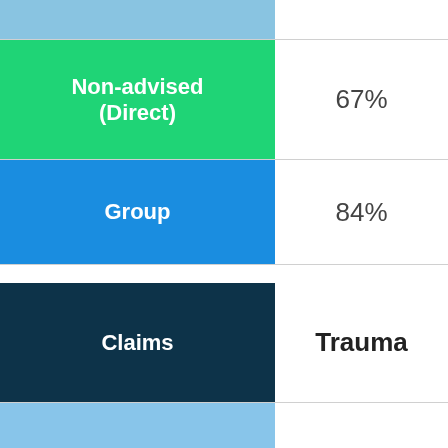| Category | Value |
| --- | --- |
|  |  |
| Non-advised (Direct) | 67% |
| Group | 84% |
| Claims | Trauma |
| Advised (Retail) | 87% |
|  |  |